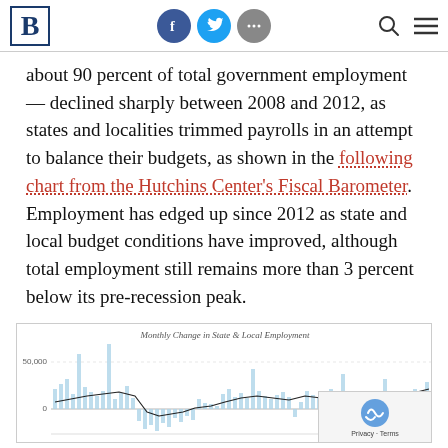Brookings Institution header with logo, social icons, search and menu
about 90 percent of total government employment — declined sharply between 2008 and 2012, as states and localities trimmed payrolls in an attempt to balance their budgets, as shown in the following chart from the Hutchins Center's Fiscal Barometer. Employment has edged up since 2012 as state and local budget conditions have improved, although total employment still remains more than 3 percent below its pre-recession peak.
[Figure (continuous-plot): Bar and line chart titled 'Monthly Change in State & Local Employment' showing monthly employment changes over time with bars (light blue) and a line overlay. Y-axis shows values with 50,000 marked. Zero line visible. Data spans multiple years showing decline 2008-2012 and recovery after.]